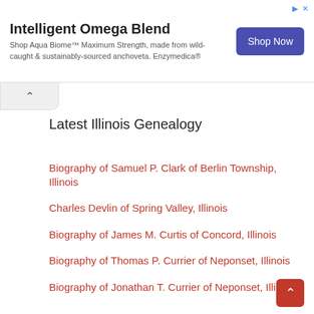[Figure (other): Advertisement banner for Intelligent Omega Blend / Aqua Biome product by Enzymedica with Shop Now button]
Intelligent Omega Blend
Shop Aqua Biome™ Maximum Strength, made from wild-caught & sustainably-sourced anchoveta. Enzymedica®
Latest Illinois Genealogy
Biography of Samuel P. Clark of Berlin Township, Illinois
Charles Devlin of Spring Valley, Illinois
Biography of James M. Curtis of Concord, Illinois
Biography of Thomas P. Currier of Neponset, Illinois
Biography of Jonathan T. Currier of Neponset, Illinois